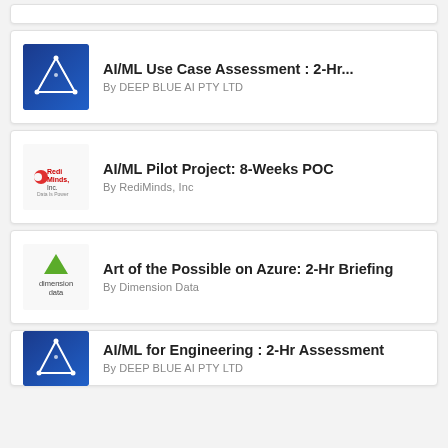[Figure (screenshot): Listing card: AI/ML Use Case Assessment : 2-Hr... by DEEP BLUE AI PTY LTD with blue AI logo]
[Figure (screenshot): Listing card: AI/ML Pilot Project: 8-Weeks POC by RediMinds, Inc with RediMinds logo]
[Figure (screenshot): Listing card: Art of the Possible on Azure: 2-Hr Briefing by Dimension Data with Dimension Data logo]
[Figure (screenshot): Listing card: AI/ML for Engineering : 2-Hr Assessment by DEEP BLUE AI PTY LTD with blue AI logo]